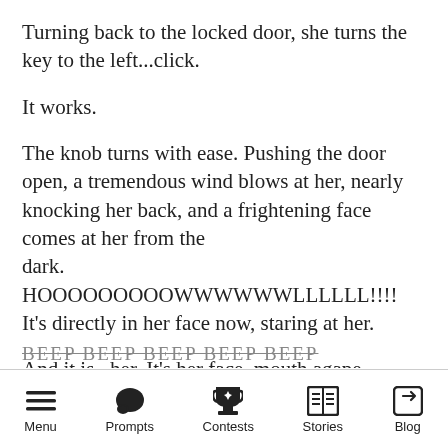Turning back to the locked door, she turns the key to the left...click.
It works.
The knob turns with ease. Pushing the door open, a tremendous wind blows at her, nearly knocking her back, and a frightening face comes at her from the dark. HOOOOOOOOOWWWWWWLLLLLL!!!! It's directly in her face now, staring at her.
And it is...her. It's her face, mouth agape, screaming.
BEEP BEEP BEEP BEEP BEEP
Menu  Prompts  Contests  Stories  Blog